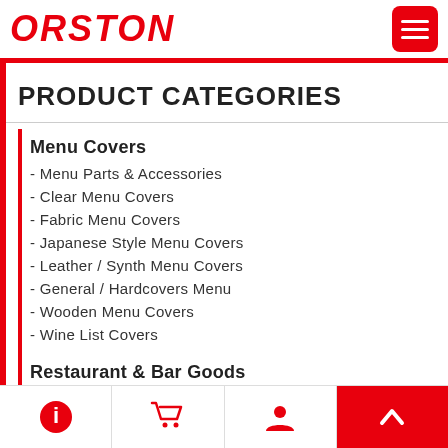ORSTON
PRODUCT CATEGORIES
Menu Covers
- Menu Parts & Accessories
- Clear Menu Covers
- Fabric Menu Covers
- Japanese Style Menu Covers
- Leather / Synth Menu Covers
- General / Hardcovers Menu
- Wooden Menu Covers
- Wine List Covers
Restaurant & Bar Goods
- Menu Book Holders